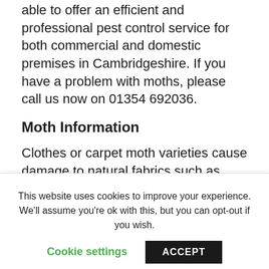able to offer an efficient and professional pest control service for both commercial and domestic premises in Cambridgeshire. If you have a problem with moths, please call us now on 01354 692036.
Moth Information
Clothes or carpet moth varieties cause damage to natural fabrics such as wools, cottons etc. If you notice damage in clothes or carpets it is likely that you may have a problem and require moths pest control. Other signs are the obvious physical sightings. Common clothes moths are
This website uses cookies to improve your experience. We'll assume you're ok with this, but you can opt-out if you wish.
Cookie settings
ACCEPT